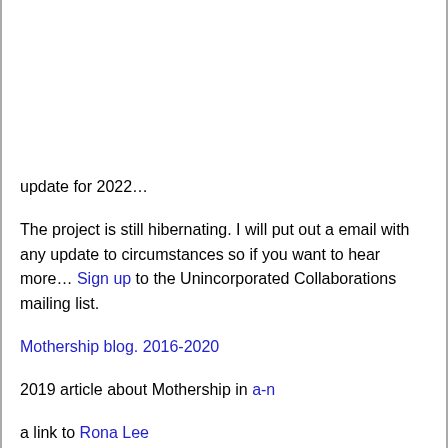update for 2022…
The project is still hibernating. I will put out a email with any update to circumstances so if you want to hear more… Sign up to the Unincorporated Collaborations mailing list.
Mothership blog. 2016-2020
2019 article about Mothership in a-n
a link to Rona Lee
***
The Mothership project was inspired by the cosmic loneliness of rural skies alongside the domestic sphere, and the idea to